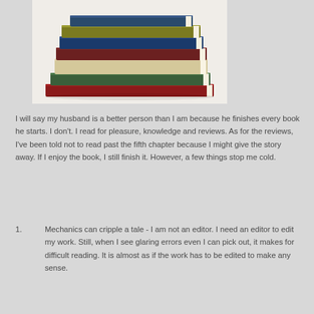[Figure (photo): A stack of colorful hardcover books piled on top of each other on a white background.]
I will say my husband is a better person than I am because he finishes every book he starts. I don't. I read for pleasure, knowledge and reviews. As for the reviews, I've been told not to read past the fifth chapter because I might give the story away. If I enjoy the book, I still finish it. However, a few things stop me cold.
1.  Mechanics can cripple a tale - I am not an editor. I need an editor to edit my work. Still, when I see glaring errors even I can pick out, it makes for difficult reading. It is almost as if the work has to be edited to make any sense.